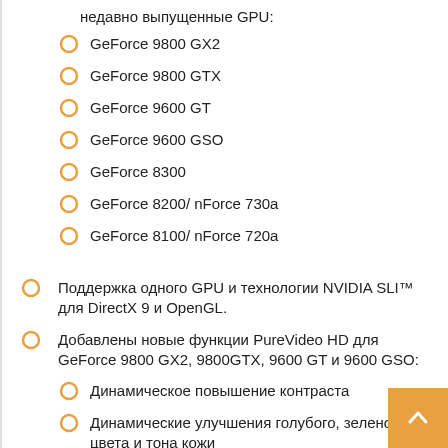недавно выпущенные GPU:
GeForce 9800 GX2
GeForce 9800 GTX
GeForce 9600 GT
GeForce 9600 GSO
GeForce 8300
GeForce 8200/ nForce 730a
GeForce 8100/ nForce 720a
Поддержка одного GPU и технологии NVIDIA SLI™ для DirectX 9 и OpenGL.
Добавлены новые функции PureVideo HD для GeForce 9800 GX2, 9800GTX, 9600 GT и 9600 GSO:
Динамическое повышение контраста
Динамические улучшения голубого, зеленого цвета и тона кожи